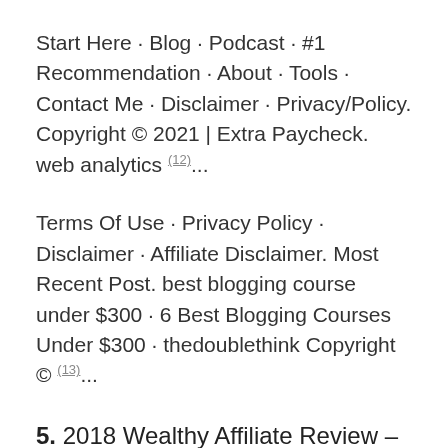Start Here · Blog · Podcast · #1 Recommendation · About · Tools · Contact Me · Disclaimer · Privacy/Policy. Copyright © 2021 | Extra Paycheck. web analytics (12)...
Terms Of Use · Privacy Policy · Disclaimer · Affiliate Disclaimer. Most Recent Post. best blogging course under $300 · 6 Best Blogging Courses Under $300 · thedoublethink Copyright © (13)...
5. 2018 Wealthy Affiliate Review – It Works, Here's Why ...